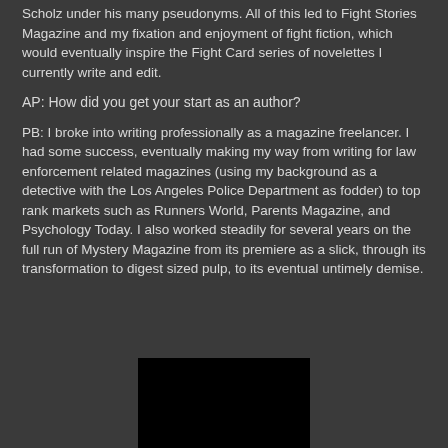Scholz under his many pseudonyms.  All of this led to Fight Stories Magazine and my fixation and enjoyment of fight fiction, which would eventually inspire the Fight Card series of novelettes I currently write and edit.
AP: How did you get your start as an author?
PB: I broke into writing professionally as a magazine freelancer.  I had some success, eventually making my way from writing for law enforcement related magazines (using my background as a detective with the Los Angeles Police Department as fodder) to top rank markets such as Runners World, Parents Magazine, and Psychology Today. I also worked steadily for several years on the full run of Mystery Magazine from its premiere as a slick, through its transformation to digest sized pulp, to its eventual untimely demise.
[Figure (photo): A dark/black rectangular image, partially visible at the bottom of the page]